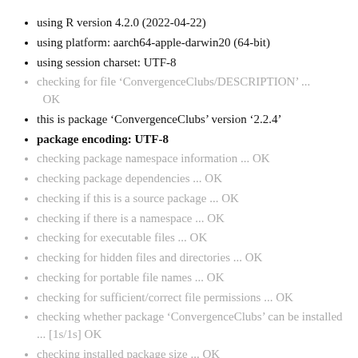using R version 4.2.0 (2022-04-22)
using platform: aarch64-apple-darwin20 (64-bit)
using session charset: UTF-8
checking for file ‘ConvergenceClubs/DESCRIPTION’ ... OK
this is package ‘ConvergenceClubs’ version ‘2.2.4’
package encoding: UTF-8
checking package namespace information ... OK
checking package dependencies ... OK
checking if this is a source package ... OK
checking if there is a namespace ... OK
checking for executable files ... OK
checking for hidden files and directories ... OK
checking for portable file names ... OK
checking for sufficient/correct file permissions ... OK
checking whether package ‘ConvergenceClubs’ can be installed ... [1s/1s] OK
checking installed package size ... OK
checking package directory ... OK
checking DESCRIPTION meta-information ... OK
checking top-level files ... OK
checking for left-over files ... OK
checking index information ... OK
checking package subdirectories ... OK